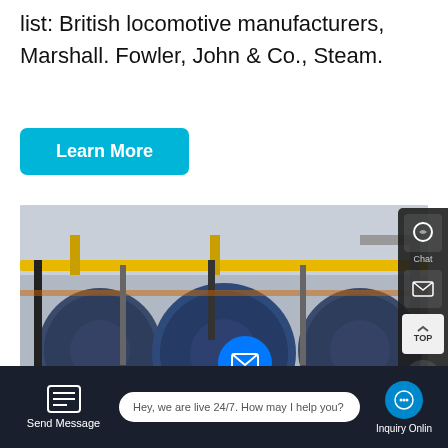list: British locomotive manufacturers, Marshall. Fowler, John & Co., Steam.
Learn More
[Figure (photo): Industrial boiler room with three large cylindrical water tube boilers in blue/grey color, yellow overhead pipes, control panels, in a factory setting.]
Water Tube Boiler
Hey, we are live 24/7. How may I help you?
Send Message
Inquiry Online